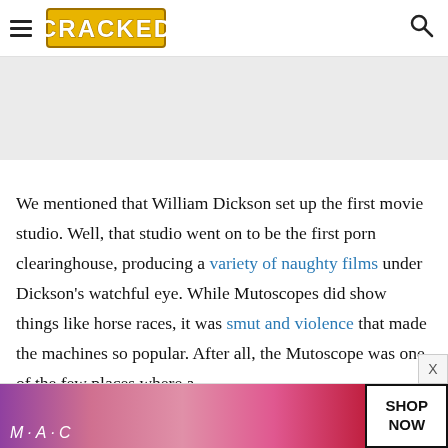CRACKED
[Figure (other): Gray advertisement placeholder banner]
We mentioned that William Dickson set up the first movie studio. Well, that studio went on to be the first porn clearinghouse, producing a variety of naughty films under Dickson's watchful eye. While Mutoscopes did show things like horse races, it was smut and violence that made the machines so popular. After all, the Mutoscope was one of the few places where a Victorian...
[Figure (other): M·A·C cosmetics advertisement showing lipsticks with SHOP NOW button]